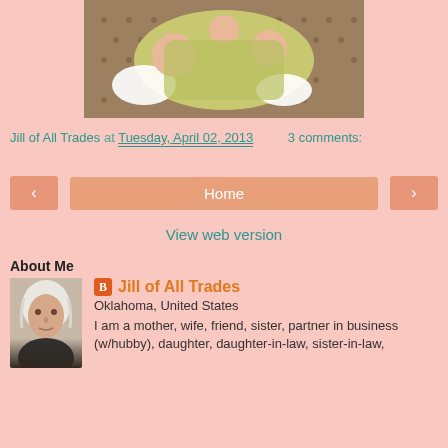[Figure (photo): Close-up photo of a baby's hands and feet on a patterned surface]
Jill of All Trades at Tuesday, April 02, 2013    3 comments:
< Home >
View web version
About Me
[Figure (photo): Profile photo of a woman with white/gray hair]
Jill of All Trades
Oklahoma, United States
I am a mother, wife, friend, sister, partner in business (w/hubby), daughter, daughter-in-law, sister-in-law,